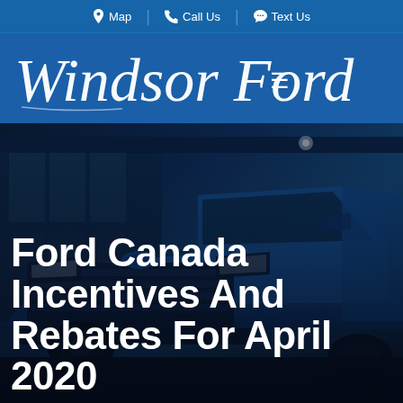Map | Call Us | Text Us
[Figure (logo): Windsor Ford cursive/script logo in white on dark blue background with hamburger menu icon]
[Figure (photo): A blue Ford pickup truck photographed in a showroom/dealership, with dark overlay. Large white bold text overlay reads: Ford Canada Incentives And Rebates For April 2020]
Ford Canada Incentives And Rebates For April 2020